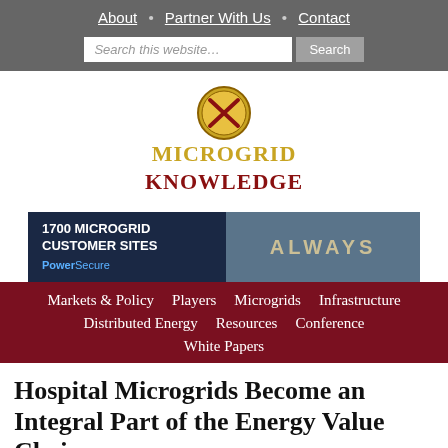About • Partner With Us • Contact
[Figure (screenshot): Search bar with placeholder 'Search this website...' and Search button]
[Figure (logo): Microgrid Knowledge logo with golden crossed hammers icon and gold/red text]
[Figure (infographic): Advertisement banner reading '1700 MICROGRID CUSTOMER SITES' with PowerSecure branding]
Markets & Policy  Players  Microgrids  Infrastructure  Distributed Energy  Resources  Conference  White Papers
Hospital Microgrids Become an Integral Part of the Energy Value Chain